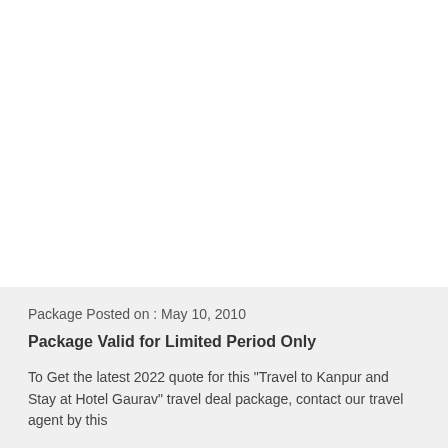Package Posted on : May 10, 2010
Package Valid for Limited Period Only
To Get the latest 2022 quote for this "Travel to Kanpur and Stay at Hotel Gaurav" travel deal package, contact our travel agent by this